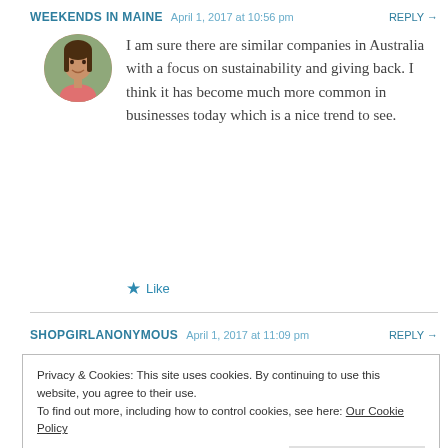WEEKENDS IN MAINE   April 1, 2017 at 10:56 pm   REPLY →
[Figure (photo): Circular avatar photo of a woman with dark hair, smiling, wearing a pink top, outdoors background.]
I am sure there are similar companies in Australia with a focus on sustainability and giving back. I think it has become much more common in businesses today which is a nice trend to see.
★ Like
SHOPGIRLANONYMOUS   April 1, 2017 at 11:09 pm   REPLY →
Privacy & Cookies: This site uses cookies. By continuing to use this website, you agree to their use.
To find out more, including how to control cookies, see here: Our Cookie Policy
Close and accept